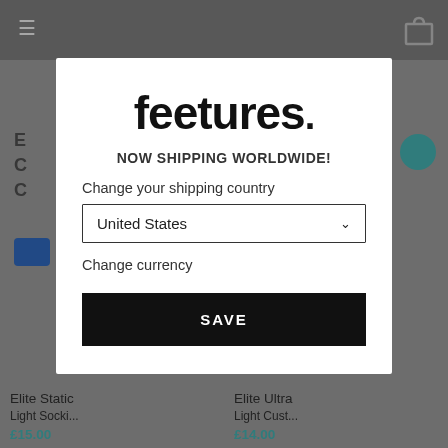[Figure (screenshot): Background of a Feetures website showing a dimmed/darkened web page with navigation header, partial product text, and bottom product listing strip.]
[Figure (screenshot): Modal popup dialog on Feetures website with logo, 'NOW SHIPPING WORLDWIDE!' subtitle, shipping country selector showing 'United States', Change currency link, and black SAVE button.]
feetures.
NOW SHIPPING WORLDWIDE!
Change your shipping country
United States
Change currency
SAVE
Elite Static
£15.00
Elite Ultra
£14.00